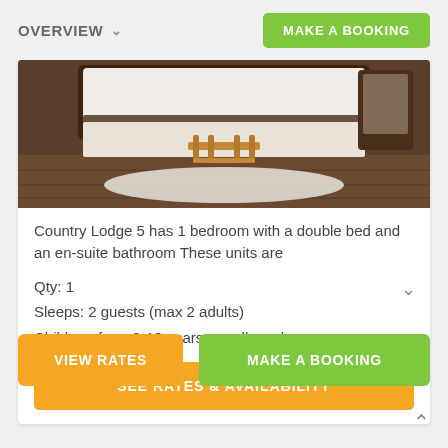OVERVIEW   MAKE A BOOKING
[Figure (photo): Hotel bedroom with white bedding, brown wooden luggage rack at the foot of the bed, and dark hardwood floors]
Country Lodge 5 has 1 bedroom with a double bed and an en-suite bathroom These units are
Qty: 1
Sleeps: 2 guests (max 2 adults)
Children: from 0-18 years are allowed
SEE RATES & AVAILABILITY
VIEW RATES
MAKE A BOOKING